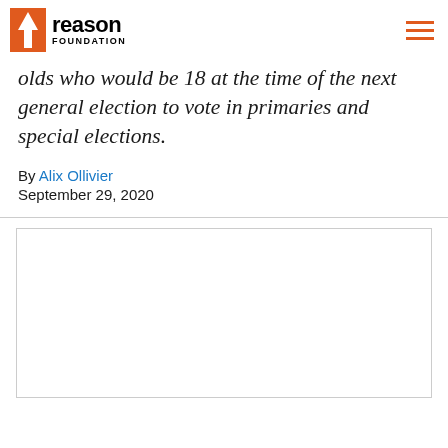Reason Foundation
California's Proposition 18 would allow 17-year-olds who would be 18 at the time of the next general election to vote in primaries and special elections.
By Alix Ollivier
September 29, 2020
[Figure (photo): Empty white image box with light gray border]